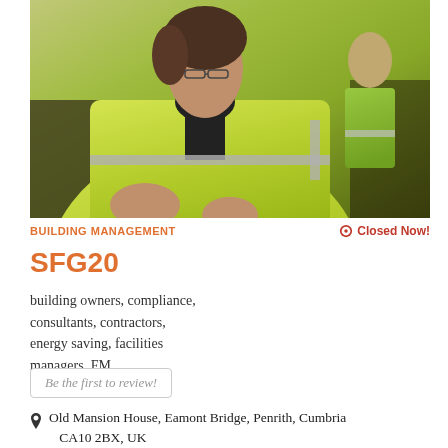[Figure (photo): Worker in a high-visibility yellow jacket working at a desk or workstation, with another person in a green jacket visible in the background]
BUILDING MANAGEMENT
Closed Now!
SFG20
building owners, compliance, consultants, contractors, energy saving, facilities managers, FM
Be the first to review!
Old Mansion House, Eamont Bridge, Penrith, Cumbria CA10 2BX, UK